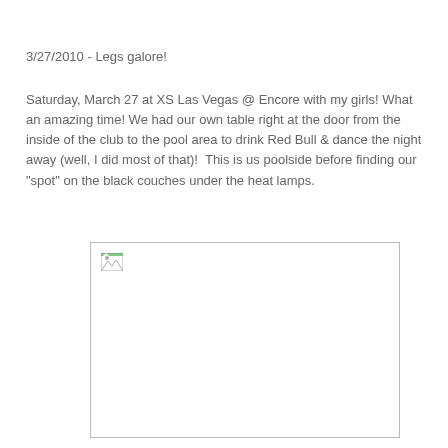3/27/2010 - Legs galore!
Saturday, March 27 at XS Las Vegas @ Encore with my girls! What an amazing time! We had our own table right at the door from the inside of the club to the pool area to drink Red Bull & dance the night away (well, I did most of that)!  This is us poolside before finding our "spot" on the black couches under the heat lamps.
[Figure (photo): Broken/missing image placeholder representing a photo of people poolside at XS Las Vegas]